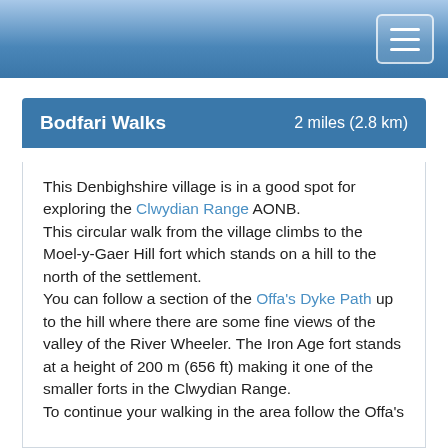Bodfari Walks  2 miles (2.8 km)
This Denbighshire village is in a good spot for exploring the Clwydian Range AONB.
This circular walk from the village climbs to the Moel-y-Gaer Hill fort which stands on a hill to the north of the settlement.
You can follow a section of the Offa's Dyke Path up to the hill where there are some fine views of the valley of the River Wheeler. The Iron Age fort stands at a height of 200 m (656 ft) making it one of the smaller forts in the Clwydian Range.
To continue your walking in the area follow the Offa's